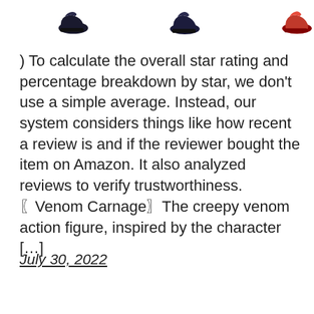[Figure (photo): Three action figure shoes/feet partially visible at the top: a dark/black shoe on the left, a dark navy shoe in the middle, and a red shoe partially cut off on the right edge.]
) To calculate the overall star rating and percentage breakdown by star, we don't use a simple average. Instead, our system considers things like how recent a review is and if the reviewer bought the item on Amazon. It also analyzed reviews to verify trustworthiness. 〖Venom Carnage〗The creepy venom action figure, inspired by the character […]
July 30, 2022